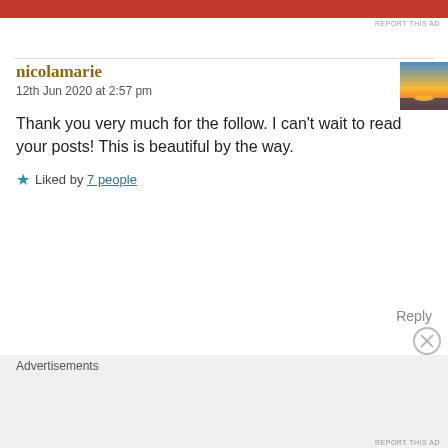[Figure (other): Red advertisement banner at the top of the page]
REPORT THIS AD
nicolamarie
12th Jun 2020 at 2:57 pm
[Figure (photo): Small thumbnail avatar image showing a sunset over water]
Thank you very much for the follow. I can't wait to read your posts! This is beautiful by the way.
★ Liked by 7 people
Reply
Advertisements
[Figure (screenshot): DuckDuckGo advertisement banner with orange background. Text reads: Search, browse, and email with more privacy. All in One Free App. DuckDuckGo logo shown with a phone graphic.]
REPORT THIS AD